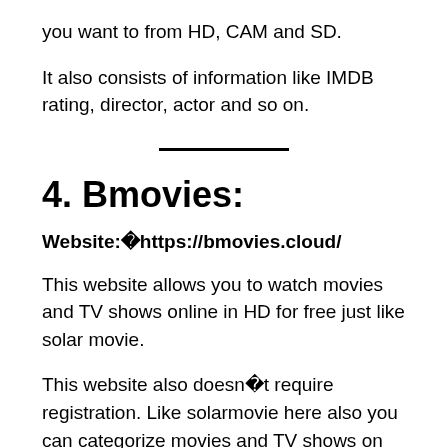you want to from HD, CAM and SD.
It also consists of information like IMDB rating, director, actor and so on.
4. Bmovies:
Website:ÿhttps://bmovies.cloud/
This website allows you to watch movies and TV shows online in HD for free just like solar movie.
This website also doesnÿt require registration. Like solarmovie here also you can categorize movies and TV shows on the basis of country, top